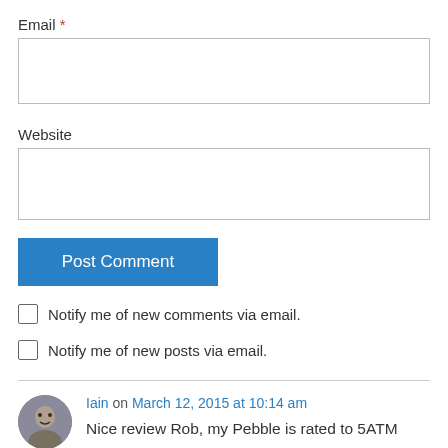Email *
Website
Post Comment
Notify me of new comments via email.
Notify me of new posts via email.
Iain on March 12, 2015 at 10:14 am
Nice review Rob, my Pebble is rated to 5ATM and b...